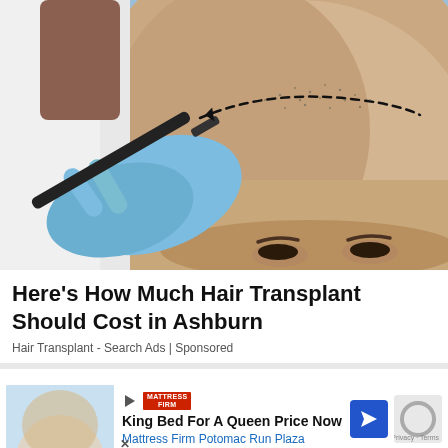[Figure (photo): A medical professional wearing blue latex gloves drawing a dashed hairline on a bald man's head with a black marker pen. The man is reclined and viewed from above/front. Light blue background.]
Here's How Much Hair Transplant Should Cost in Ashburn
Hair Transplant - Search Ads | Sponsored
[Figure (screenshot): Advertisement for Mattress Firm Potomac Run Plaza. Shows Mattress Firm logo, text 'King Bed For A Queen Price Now', subtitle 'Mattress Firm Potomac Run Plaza', a blue navigation arrow icon, a reCAPTCHA widget, and a 'Privacy · Terms' label.]